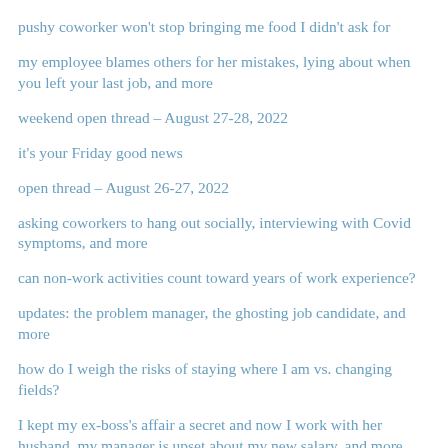pushy coworker won't stop bringing me food I didn't ask for
my employee blames others for her mistakes, lying about when you left your last job, and more
weekend open thread – August 27-28, 2022
it's your Friday good news
open thread – August 26-27, 2022
asking coworkers to hang out socially, interviewing with Covid symptoms, and more
can non-work activities count toward years of work experience?
updates: the problem manager, the ghosting job candidate, and more
how do I weigh the risks of staying where I am vs. changing fields?
I kept my ex-boss's affair a secret and now I work with her husband, my manager is upset about my new salary, and more
my manager says my shyness is seen as rudeness
can I push back on in-office work?
my coworker is using paid paternity leave to work a second job instead of taking care of his baby